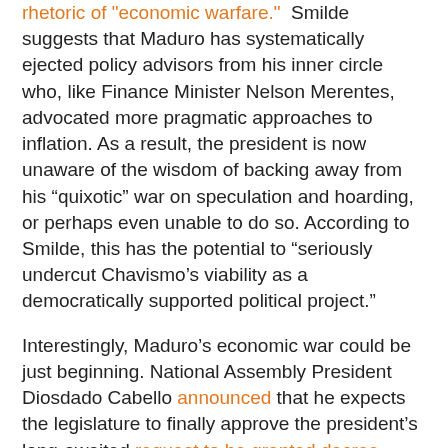rhetoric of "economic warfare." Smilde suggests that Maduro has systematically ejected policy advisors from his inner circle who, like Finance Minister Nelson Merentes, advocated more pragmatic approaches to inflation. As a result, the president is now unaware of the wisdom of backing away from his “quixotic” war on speculation and hoarding, or perhaps even unable to do so. According to Smilde, this has the potential to “seriously undercut Chavismo’s viability as a democratically supported political project.”
Interestingly, Maduro’s economic war could be just beginning. National Assembly President Diosdado Cabello announced that he expects the legislature to finally approve the president’s long-awaited request to be granted decree powers for 12 months. Telesur reports that Maduro has confirmed this, and hopes to use the authorization to support his economic agenda. In his address yesterday, the president promised to “immediately put in place a law to set the base rates of earnings of all economic activities of the republic to structurally establish the mechanisms of the economy.”